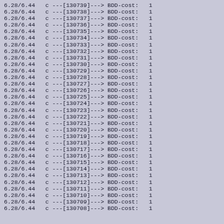6.28/6.44   c ---[130739]---> BDD-cost:   1
6.28/6.44   c ---[130738]---> BDD-cost:   1
6.28/6.44   c ---[130737]---> BDD-cost:   1
6.28/6.44   c ---[130736]---> BDD-cost:   1
6.28/6.44   c ---[130735]---> BDD-cost:   1
6.28/6.44   c ---[130734]---> BDD-cost:   1
6.28/6.44   c ---[130733]---> BDD-cost:   1
6.28/6.44   c ---[130732]---> BDD-cost:   1
6.28/6.44   c ---[130731]---> BDD-cost:   1
6.28/6.44   c ---[130730]---> BDD-cost:   1
6.28/6.44   c ---[130729]---> BDD-cost:   1
6.28/6.44   c ---[130728]---> BDD-cost:   1
6.28/6.44   c ---[130727]---> BDD-cost:   1
6.28/6.44   c ---[130726]---> BDD-cost:   1
6.28/6.44   c ---[130725]---> BDD-cost:   1
6.28/6.44   c ---[130724]---> BDD-cost:   1
6.28/6.44   c ---[130723]---> BDD-cost:   1
6.28/6.44   c ---[130722]---> BDD-cost:   1
6.28/6.44   c ---[130721]---> BDD-cost:   1
6.28/6.44   c ---[130720]---> BDD-cost:   1
6.28/6.44   c ---[130719]---> BDD-cost:   1
6.28/6.44   c ---[130718]---> BDD-cost:   1
6.28/6.44   c ---[130717]---> BDD-cost:   1
6.28/6.44   c ---[130716]---> BDD-cost:   1
6.28/6.44   c ---[130715]---> BDD-cost:   1
6.28/6.44   c ---[130714]---> BDD-cost:   1
6.28/6.44   c ---[130713]---> BDD-cost:   1
6.28/6.44   c ---[130712]---> BDD-cost:   1
6.28/6.44   c ---[130711]---> BDD-cost:   1
6.28/6.44   c ---[130710]---> BDD-cost:   1
6.28/6.44   c ---[130709]---> BDD-cost:   1
6.28/6.44   c ---[130708]---> BDD-cost:   1